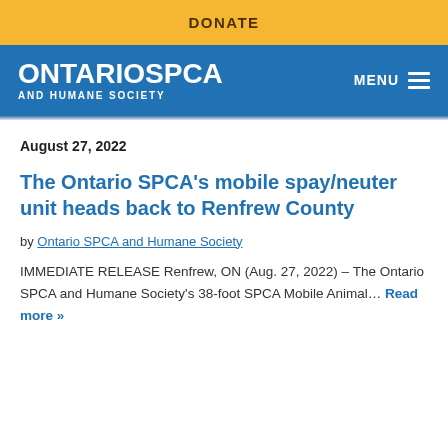DONATE
[Figure (logo): Ontario SPCA and Humane Society logo in white text on blue background, with MENU hamburger icon on the right]
August 27, 2022
The Ontario SPCA's mobile spay/neuter unit heads back to Renfrew County
by Ontario SPCA and Humane Society
IMMEDIATE RELEASE Renfrew, ON (Aug. 27, 2022) – The Ontario SPCA and Humane Society's 38-foot SPCA Mobile Animal… Read more »